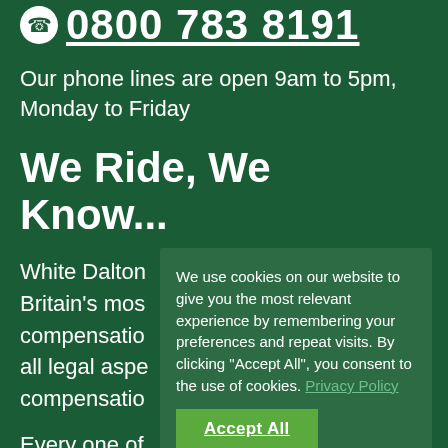0800 783 8191
Our phone lines are open 9am to 5pm, Monday to Friday
We Ride, We Know...
White Dalton Britain's most compensation all legal aspects compensation
We use cookies on our website to give you the most relevant experience by remembering your preferences and repeat visits. By clicking “Accept All”, you consent to the use of cookies. Privacy Policy
Accept All
Every one of and we have have years of experience in successfully